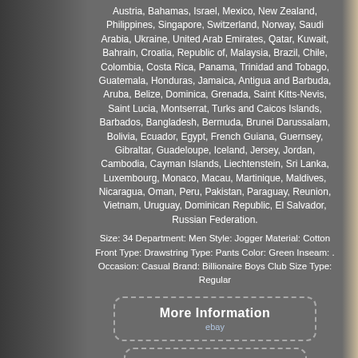Austria, Bahamas, Israel, Mexico, New Zealand, Philippines, Singapore, Switzerland, Norway, Saudi Arabia, Ukraine, United Arab Emirates, Qatar, Kuwait, Bahrain, Croatia, Republic of, Malaysia, Brazil, Chile, Colombia, Costa Rica, Panama, Trinidad and Tobago, Guatemala, Honduras, Jamaica, Antigua and Barbuda, Aruba, Belize, Dominica, Grenada, Saint Kitts-Nevis, Saint Lucia, Montserrat, Turks and Caicos Islands, Barbados, Bangladesh, Bermuda, Brunei Darussalam, Bolivia, Ecuador, Egypt, French Guiana, Guernsey, Gibraltar, Guadeloupe, Iceland, Jersey, Jordan, Cambodia, Cayman Islands, Liechtenstein, Sri Lanka, Luxembourg, Monaco, Macau, Martinique, Maldives, Nicaragua, Oman, Peru, Pakistan, Paraguay, Reunion, Vietnam, Uruguay, Dominican Republic, El Salvador, Russian Federation.
Size: 34 Department: Men Style: Jogger Material: Cotton Front Type: Drawstring Type: Pants Color: Green Inseam: . Occasion: Casual Brand: Billionaire Boys Club Size Type: Regular
[Figure (screenshot): Button labelled 'More Information' with ebay branding, dashed rounded rectangle border on dark grey background]
[Figure (screenshot): Button labelled 'View Price' with ebay branding, dashed rounded rectangle border on dark grey background]